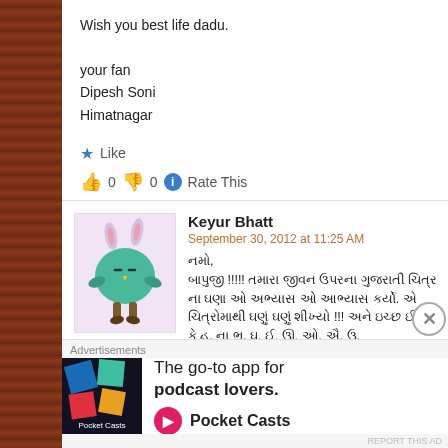Wish you best life dadu.

your fan
Dipesh Soni
Himatnagar
★ Like
👍 0 👎 0 ℹ Rate This
Keyur Bhatt
September 30, 2012 at 11:25 AM
[Figure (illustration): Cartoon avatar of a green round bird-like character with bunny ears, small wings, and tree trunk feet on a light purple background]
Gujarati script comment text followed by 'all the best .'
Advertisements
[Figure (logo): Pocket Casts advertisement - The go-to app for podcast lovers.]